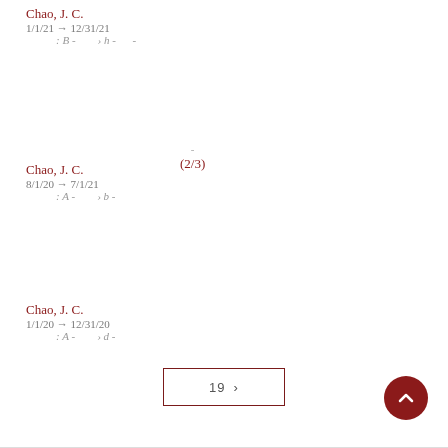Chao, J. C.
1/1/21 → 12/31/21
: B - › h - -
-
(2/3)
Chao, J. C.
8/1/20 → 7/1/21
: A - › b -
Chao, J. C.
1/1/20 → 12/31/20
: A - › d -
19 ›